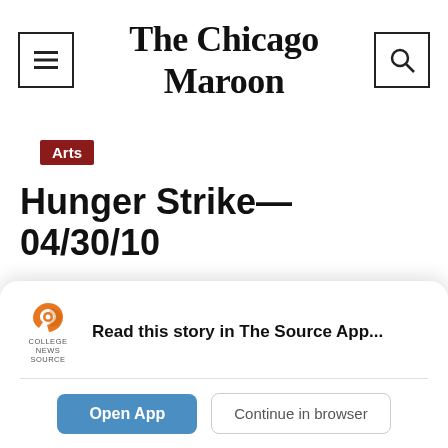The Chicago Maroon
Arts
Hunger Strike—04/30/10
The revolution with be televised... shamelessly
Read this story in The Source App...
Open App  Continue in browser